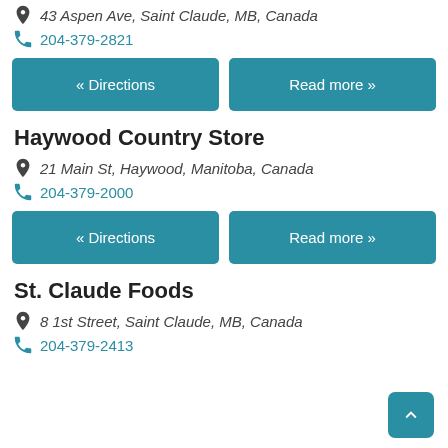43 Aspen Ave, Saint Claude, MB, Canada
204-379-2821
« Directions | Read more »
Haywood Country Store
21 Main St, Haywood, Manitoba, Canada
204-379-2000
« Directions | Read more »
St. Claude Foods
8 1st Street, Saint Claude, MB, Canada
204-379-2413